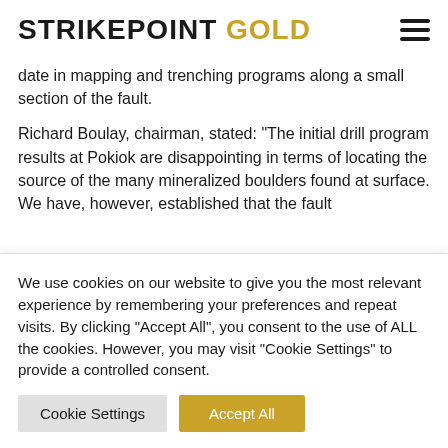STRIKEPOINT GOLD
date in mapping and trenching programs along a small section of the fault.
Richard Boulay, chairman, stated: “The initial drill program results at Pokiok are disappointing in terms of locating the source of the many mineralized boulders found at surface. We have, however, established that the fault
We use cookies on our website to give you the most relevant experience by remembering your preferences and repeat visits. By clicking “Accept All”, you consent to the use of ALL the cookies. However, you may visit “Cookie Settings” to provide a controlled consent.